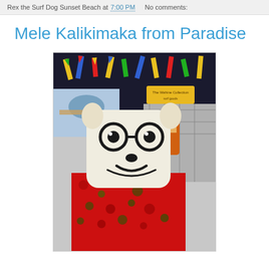Rex the Surf Dog Sunset Beach at 7:00 PM   No comments:
Mele Kalikimaka from Paradise
[Figure (photo): A cartoon dog plush toy (Rex the Surf Dog) with black-and-white face markings and large round glasses, wearing a red Hawaiian floral shirt, displayed in front of colorful surf-themed artwork and merchandise including surfboards and figures.]